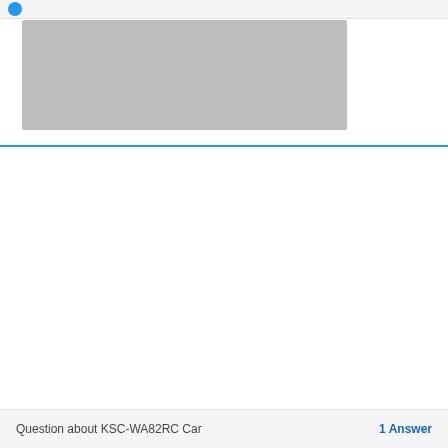[Figure (screenshot): Gray placeholder image rectangle]
Question about KSC-WA82RC Car    1 Answer